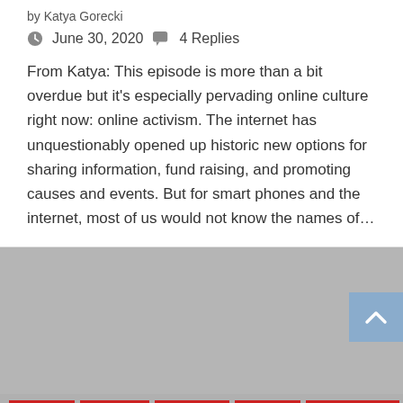by Katya Gorecki
June 30, 2020  4 Replies
From Katya: This episode is more than a bit overdue but it's especially pervading online culture right now: online activism. The internet has unquestionably opened up historic new options for sharing information, fund raising, and promoting causes and events. But for smart phones and the internet, most of us would not know the names of…
[Figure (photo): Gray placeholder image area with a scroll-to-top button (blue/steel colored square with upward chevron) in the upper right corner]
CULTURE
INTERNET
PODCASTS
POLITICS
SOCIAL MEDIA